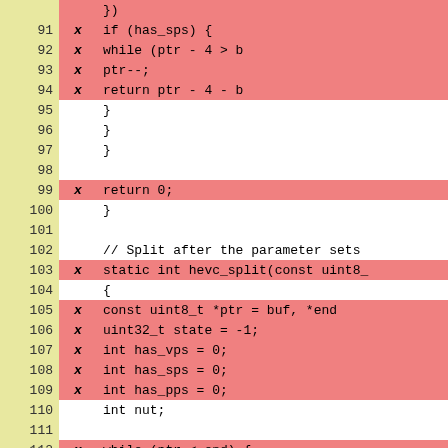[Figure (screenshot): Code coverage view showing C source lines 91-115. Lines are shown with line numbers in yellow column, an 'X' mark column indicating uncovered lines (red background), and code content. Lines 91-94 show if/while/ptr--/return in red. Lines 95-98 show closing braces in white. Line 99 shows return 0 in red. Lines 100-102 show closing brace and comment in white. Line 103 shows static int hevc_split in red. Line 104 shows opening brace in white. Lines 105-109 show variable declarations in red. Lines 110-111 show int nut and blank in white. Lines 112-115 show while loop lines in red.]